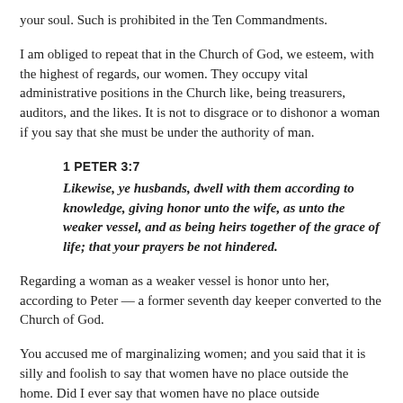your soul. Such is prohibited in the Ten Commandments.
I am obliged to repeat that in the Church of God, we esteem, with the highest of regards, our women. They occupy vital administrative positions in the Church like, being treasurers, auditors, and the likes. It is not to disgrace or to dishonor a woman if you say that she must be under the authority of man.
1 PETER 3:7
Likewise, ye husbands, dwell with them according to knowledge, giving honor unto the wife, as unto the weaker vessel, and as being heirs together of the grace of life; that your prayers be not hindered.
Regarding a woman as a weaker vessel is honor unto her, according to Peter — a former seventh day keeper converted to the Church of God.
You accused me of marginalizing women; and you said that it is silly and foolish to say that women have no place outside the home. Did I ever say that women have no place outside